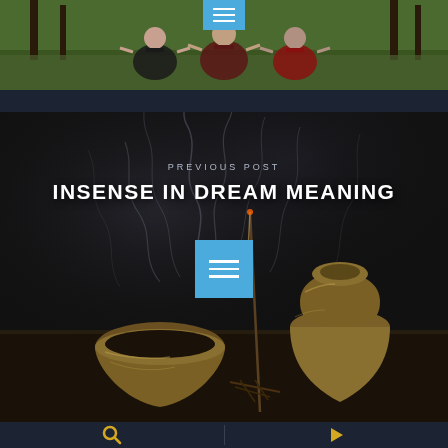[Figure (photo): Three people sitting in lotus meditation pose on grass outdoors, viewed from front, with trees in background]
[Figure (photo): Dark atmospheric photo of brass/bronze incense bowls and a burning incense stick with smoke rising, on a dark stone surface]
PREVIOUS POST
INSENSE IN DREAM MEANING